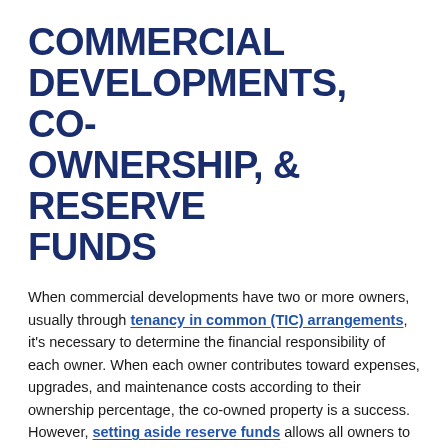COMMERCIAL DEVELOPMENTS, CO-OWNERSHIP, & RESERVE FUNDS
When commercial developments have two or more owners, usually through tenancy in common (TIC) arrangements, it's necessary to determine the financial responsibility of each owner. When each owner contributes toward expenses, upgrades, and maintenance costs according to their ownership percentage, the co-owned property is a success. However, setting aside reserve funds allows all owners to jointly contribute toward reserves that offset significant costs, unexpected expenses, or owner payment default.
The critical nature of a reserve fund budget requires the attention of a professional to ensure accurate reserve calculations and avoid the drastic impact of an underfunded